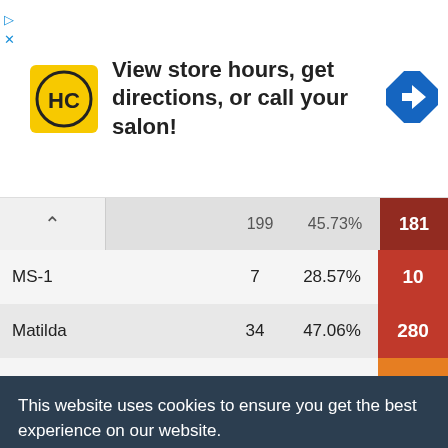[Figure (screenshot): Advertisement banner for Hair Club (HC logo) with text 'View store hours, get directions, or call your salon!' and navigation arrow icon]
| Vehicle | Count | Percent | Value |
| --- | --- | --- | --- |
| (partial row) | 199 | 45.73% | 181 |
| MS-1 | 7 | 28.57% | 10 |
| Matilda | 34 | 47.06% | 280 |
| Marder II | 13 | 61.54% | 516 |
| Marder 38T | 45 | 42.22% | 496 |
| (partial) |  |  | 3 |
| (partial) |  |  | 3 |
| (partial) |  |  | 3 |
| (partial) |  |  | 9 |
| (partial) |  |  | 04 |
| M5 Stuart | 105 | 41.9% | 16 |
This website uses cookies to ensure you get the best experience on our website. Learn more
Got it!